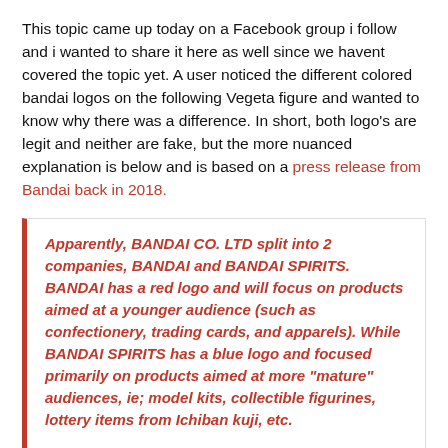This topic came up today on a Facebook group i follow and i wanted to share it here as well since we havent covered the topic yet. A user noticed the different colored bandai logos on the following Vegeta figure and wanted to know why there was a difference. In short, both logo's are legit and neither are fake, but the more nuanced explanation is below and is based on a press release from Bandai back in 2018.
Apparently, BANDAI CO. LTD split into 2 companies, BANDAI and BANDAI SPIRITS. BANDAI has a red logo and will focus on products aimed at a younger audience (such as confectionery, trading cards, and apparels). While BANDAI SPIRITS has a blue logo and focused primarily on products aimed at more "mature" audiences, ie; model kits, collectible figurines, lottery items from Ichiban kuji, etc.
What this means is that BANDAI SPIRITS is now running the...